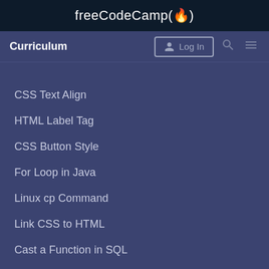freeCodeCamp(🔥)
Curriculum | Log In | Search | Menu
CSS Text Align
HTML Label Tag
CSS Button Style
For Loop in Java
Linux cp Command
Link CSS to HTML
Cast a Function in SQL
Java Logical Operators
Chmod Command in Linux
Python Get Last Element